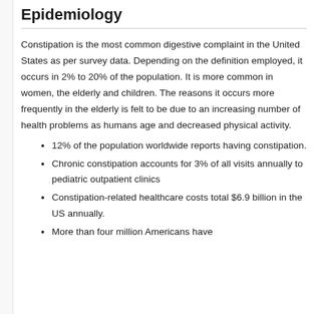Epidemiology
Constipation is the most common digestive complaint in the United States as per survey data. Depending on the definition employed, it occurs in 2% to 20% of the population. It is more common in women, the elderly and children. The reasons it occurs more frequently in the elderly is felt to be due to an increasing number of health problems as humans age and decreased physical activity.
12% of the population worldwide reports having constipation.
Chronic constipation accounts for 3% of all visits annually to pediatric outpatient clinics
Constipation-related healthcare costs total $6.9 billion in the US annually.
More than four million Americans have